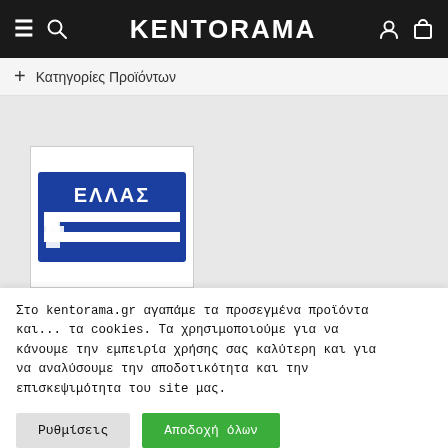KENTORAMA
+ Κατηγορίες Προϊόντων
[Figure (photo): A Greek patch/emblem with blue border showing the Greek flag and text ΕΛΛΑΣ]
Στο kentorama.gr αγαπάμε τα προσεγμένα προϊόντα και... τα cookies. Τα χρησιμοποιούμε για να κάνουμε την εμπειρία χρήσης σας καλύτερη και για να αναλύσουμε την αποδοτικότητα και την επισκεψιμότητα του site μας.
Ρυθμίσεις
Αποδοχή όλων